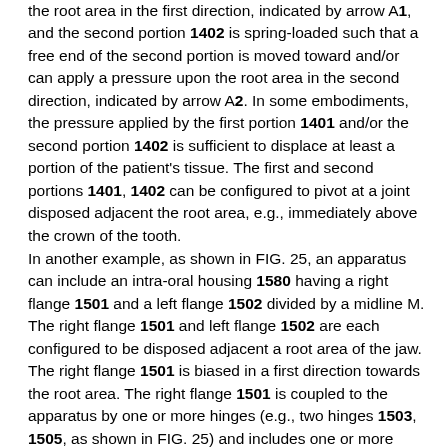the root area in the first direction, indicated by arrow A1, and the second portion 1402 is spring-loaded such that a free end of the second portion is moved toward and/or can apply a pressure upon the root area in the second direction, indicated by arrow A2. In some embodiments, the pressure applied by the first portion 1401 and/or the second portion 1402 is sufficient to displace at least a portion of the patient's tissue. The first and second portions 1401, 1402 can be configured to pivot at a joint disposed adjacent the root area, e.g., immediately above the crown of the tooth.
In another example, as shown in FIG. 25, an apparatus can include an intra-oral housing 1580 having a right flange 1501 and a left flange 1502 divided by a midline M. The right flange 1501 and left flange 1502 are each configured to be disposed adjacent a root area of the jaw. The right flange 1501 is biased in a first direction towards the root area. The right flange 1501 is coupled to the apparatus by one or more hinges (e.g., two hinges 1503, 1505, as shown in FIG. 25) and includes one or more wires (e.g., two nitinol or other super-elastic wires, each associated with a respective hinge, as shown in FIG. 25) embedded within the right flange 1501 of the intra-oral housing 1580. For